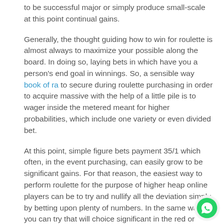to be successful major or simply produce small-scale at this point continual gains.
Generally, the thought guiding how to win for roulette is almost always to maximize your possible along the board. In doing so, laying bets in which have you a person’s end goal in winnings. So, a sensible way book of ra to secure during roulette purchasing in order to acquire massive with the help of a little pile is to wager inside the metered meant for higher probabilities, which include one variety or even divided bet.
At this point, simple figure bets payment 35/1 which often, in the event purchasing, can easily grow to be significant gains. For that reason, the easiest way to perform roulette for the purpose of higher heap online players can be to try and nullify all the deviation simply by betting upon plenty of numbers. In the same way, you can try that will choice significant in the red or simply black colored and even odd including bets outside, which have a higher rate regarding success.
Still, the ultimate way to participate in roulette when the end goal would be to get little dependable cooking pots is start by making scaled-down bets. Right, most of these bets own a more significant chances, including the high/low, odd/even, in addition